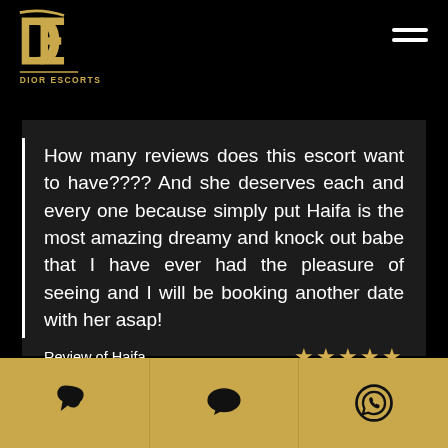[Figure (logo): Dior Escorts logo with golden D and E letters and text DIOR ESCORTS below]
How many reviews does this escort want to have???? And she deserves each and every one because simply put Haifa is the most amazing dreamy and knock out babe that I have ever had the pleasure of seeing and I will be booking another date with her asap!
Review of Haifa ★★★★★
Made by DJ on 14/05/20